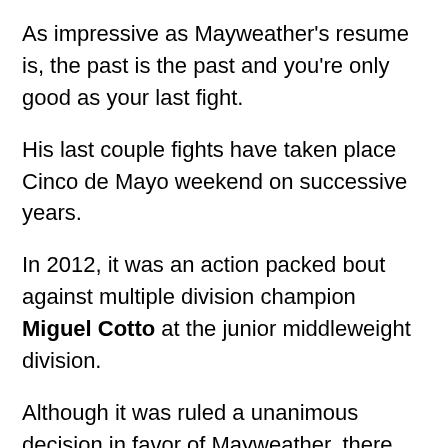As impressive as Mayweather’s resume is, the past is the past and you’re only good as your last fight.
His last couple fights have taken place Cinco de Mayo weekend on successive years.
In 2012, it was an action packed bout against multiple division champion Miguel Cotto at the junior middleweight division.
Although it was ruled a unanimous decision in favor of Mayweather, there were some rough moments for the P4P king.
Surely the caliber of his opponent, Cotto is no pushover. Some may suggest it was the weight difference, as Cotto weighed around 168 pounds the night of the fight and Mayweather was around 148 pounds. Some may mention other factors, like